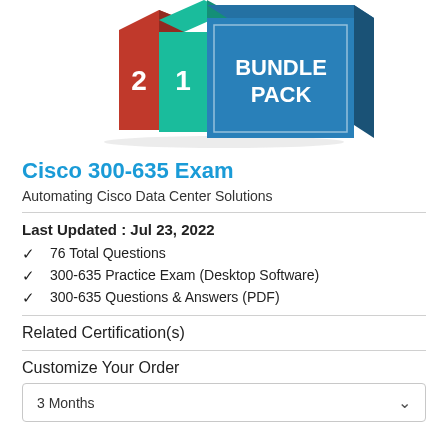[Figure (illustration): Bundle pack product image showing three stacked books/boxes: red with number 2, teal with number 1, and a large blue one labeled BUNDLE PACK]
Cisco 300-635 Exam
Automating Cisco Data Center Solutions
Last Updated : Jul 23, 2022
76 Total Questions
300-635 Practice Exam (Desktop Software)
300-635 Questions & Answers (PDF)
Related Certification(s)
Customize Your Order
3 Months